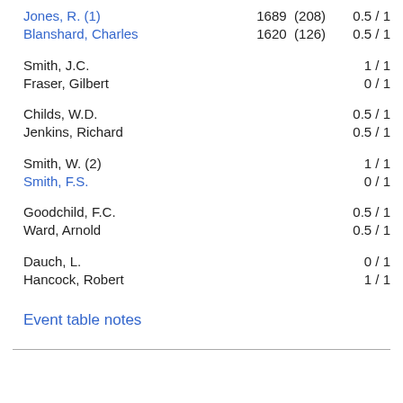| Name | Rating | RD | Score |
| --- | --- | --- | --- |
| Jones, R. (1) | 1689 | (208) | 0.5 / 1 |
| Blanshard, Charles | 1620 | (126) | 0.5 / 1 |
| Smith, J.C. |  |  | 1 / 1 |
| Fraser, Gilbert |  |  | 0 / 1 |
| Childs, W.D. |  |  | 0.5 / 1 |
| Jenkins, Richard |  |  | 0.5 / 1 |
| Smith, W. (2) |  |  | 1 / 1 |
| Smith, F.S. |  |  | 0 / 1 |
| Goodchild, F.C. |  |  | 0.5 / 1 |
| Ward, Arnold |  |  | 0.5 / 1 |
| Dauch, L. |  |  | 0 / 1 |
| Hancock, Robert |  |  | 1 / 1 |
Event table notes